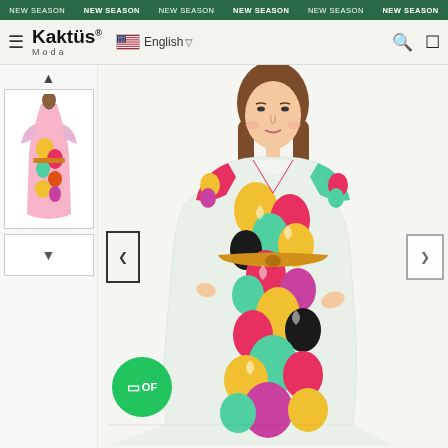NEW SEASON NEW SEASON NEW SEASON NEW SEASON NEW SEASON NEW SEASON
[Figure (screenshot): Kaktüs Moda website navigation bar with logo, English language selector, hamburger menu, search and cart icons]
[Figure (photo): Small thumbnail of a colorful patterned mini dress on a model]
[Figure (photo): Main product photo: woman wearing a colorful psychedelic-print wrap midi dress with short puff sleeves and tie waist, on a white background]